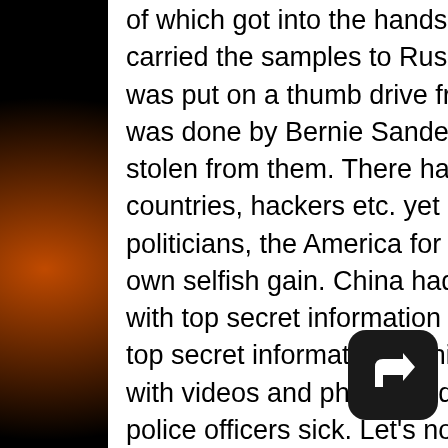of which got into the hands of unfriendly's. Muller was the mule that carried the samples to Russia. The information stolen from the DNC was put on a thumb drive from the inside not Russian hacking. It was done by Bernie Sanders sympathizers after having the election stolen from them. There has always been meddling by foreign countries, hackers etc. yet let's look at the big money behind corrupt politicians, the America for sale misusing their positions for their own selfish gain. China had open access to Hilary's private servers with top secret information on them. Weiner Huma's husband had top secret information on his computer along with an insurance file with videos and photos of despicable acts that made seasoned NY police officers sick. Let's not
[Figure (illustration): A dark rounded-square button icon with a white upward-right arrow (reply/redirect arrow)]